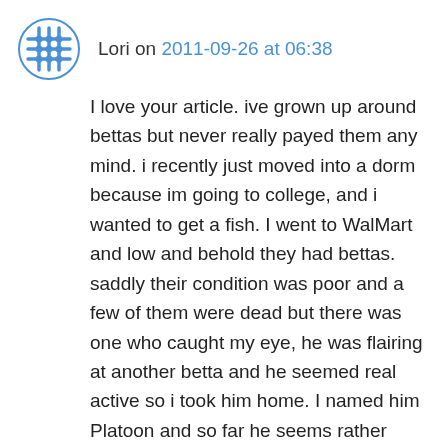Lori on 2011-09-26 at 06:38
I love your article. ive grown up around bettas but never really payed them any mind. i recently just moved into a dorm because im going to college, and i wanted to get a fish. I went to WalMart and low and behold they had bettas. saddly their condition was poor and a few of them were dead but there was one who caught my eye, he was flairing at another betta and he seemed real active so i took him home. I named him Platoon and so far he seems rather friendly he likes it when i sit next to him at my desk even now he is stareing at me from his bowl wanting me to come sit next to him. Im really glad i could read your article about you and your bettas and i